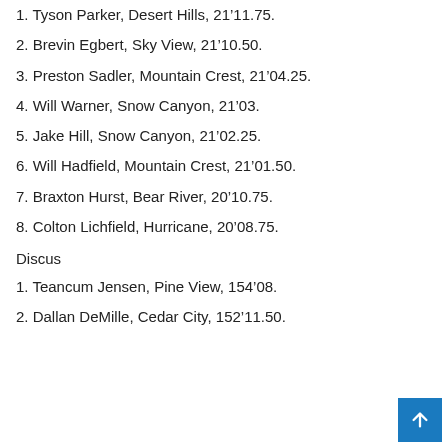1. Tyson Parker, Desert Hills, 21’11.75.
2. Brevin Egbert, Sky View, 21’10.50.
3. Preston Sadler, Mountain Crest, 21’04.25.
4. Will Warner, Snow Canyon, 21’03.
5. Jake Hill, Snow Canyon, 21’02.25.
6. Will Hadfield, Mountain Crest, 21’01.50.
7. Braxton Hurst, Bear River, 20’10.75.
8. Colton Lichfield, Hurricane, 20’08.75.
Discus
1. Teancum Jensen, Pine View, 154’08.
2. Dallan DeMille, Cedar City, 152’11.50.